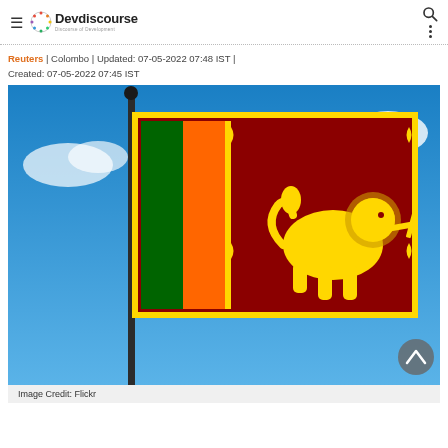Devdiscourse — Discourse of Development
Reuters | Colombo | Updated: 07-05-2022 07:48 IST | Created: 07-05-2022 07:45 IST
[Figure (photo): Sri Lanka national flag waving on a flagpole against a blue sky with white clouds]
Image Credit: Flickr